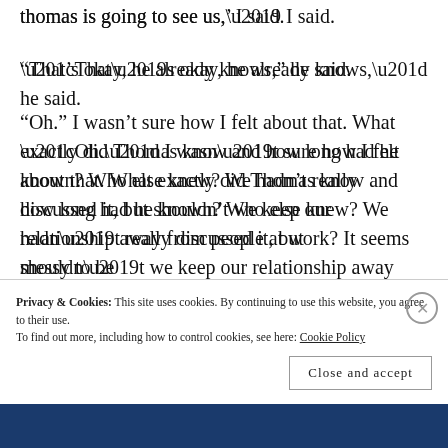thomas is going to see us,’ I said.
“That’s okay, he already knows,” he said.
“Oh.” I wasn’t sure how I felt about that. What exactly did Thomas know and how long had he known? Who else knew? We hadn’t really discussed it, but shouldn’t we keep our relationship away from people at work? It seems messy to be
Privacy & Cookies: This site uses cookies. By continuing to use this website, you agree to their use.
To find out more, including how to control cookies, see here: Cookie Policy
Close and accept